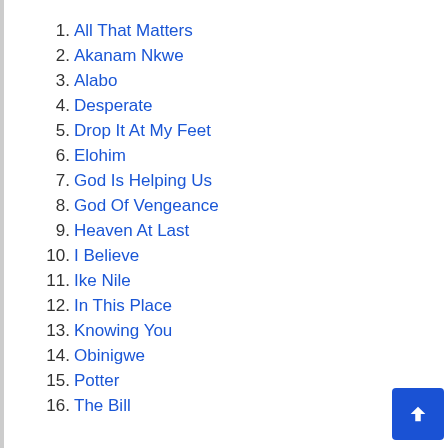1. All That Matters
2. Akanam Nkwe
3. Alabo
4. Desperate
5. Drop It At My Feet
6. Elohim
7. God Is Helping Us
8. God Of Vengeance
9. Heaven At Last
10. I Believe
11. Ike Nile
12. In This Place
13. Knowing You
14. Obinigwe
15. Potter
16. The Bill